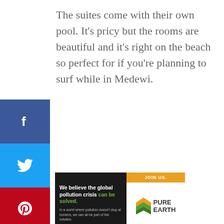The suites come with their own pool. It's pricy but the rooms are beautiful and it's right on the beach so perfect for if you're planning to surf while in Medewi.
[Figure (infographic): Social media sharing sidebar with buttons: Facebook (blue), Twitter (light blue), Pinterest (red), LinkedIn (dark blue), Email (green), Print (gray)]
[Figure (infographic): Pure Earth advertisement banner: dark left panel with text 'We believe the global pollution crisis can be solved. In a world where pollution doesn't stop at borders, we can all be part of the solution.' and right panel with orange JOIN US. bar and Pure Earth diamond logo]